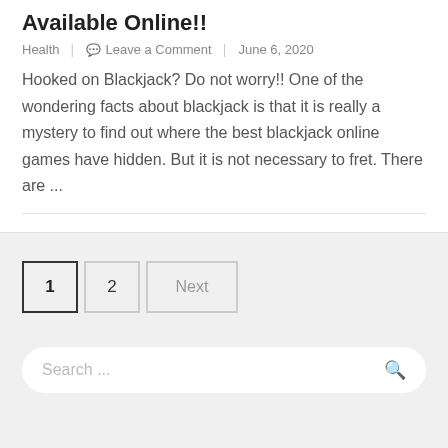Available Online!!
Health   Leave a Comment   June 6, 2020
Hooked on Blackjack? Do not worry!! One of the wondering facts about blackjack is that it is really a mystery to find out where the best blackjack online games have hidden. But it is not necessary to fret. There are ...
1   2   Next
Search ...